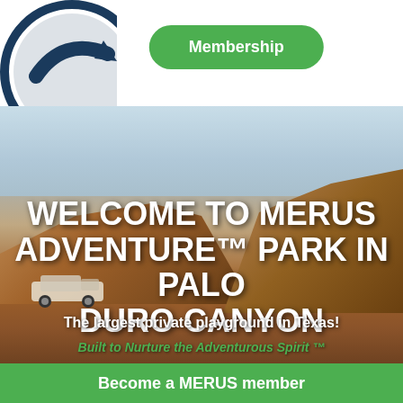[Figure (logo): Circular logo with arrow/checkmark in dark teal/navy, partially visible in top-left corner]
[Figure (other): Green rounded pill button labeled 'Membership']
[Figure (photo): Outdoor adventure park photo showing canyon landscape (Palo Duro Canyon) with rocky cliffs, sky with clouds, and a Jeep vehicle]
WELCOME TO MERUS ADVENTURE™ PARK IN PALO DURO CANYON
The largest private playground in Texas!
Built to Nurture the Adventurous Spirit ™
[Figure (other): Green rounded pill button with calendar icon and text 'Book Now']
Become a MERUS member